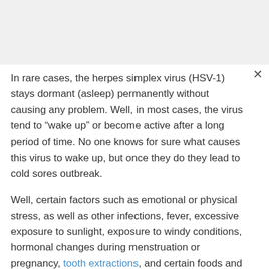In rare cases, the herpes simplex virus (HSV-1) stays dormant (asleep) permanently without causing any problem. Well, in most cases, the virus tend to “wake up” or become active after a long period of time. No one knows for sure what causes this virus to wake up, but once they do they lead to cold sores outbreak.
Well, certain factors such as emotional or physical stress, as well as other infections, fever, excessive exposure to sunlight, exposure to windy conditions, hormonal changes during menstruation or pregnancy, tooth extractions, and certain foods and medications can possibly awake the virus.